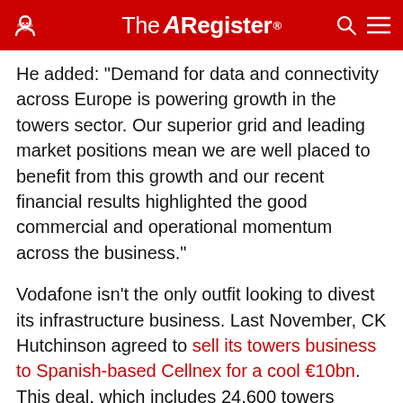The Register
He added: "Demand for data and connectivity across Europe is powering growth in the towers sector. Our superior grid and leading market positions mean we are well placed to benefit from this growth and our recent financial results highlighted the good commercial and operational momentum across the business."
Vodafone isn't the only outfit looking to divest its infrastructure business. Last November, CK Hutchinson agreed to sell its towers business to Spanish-based Cellnex for a cool €10bn. This deal, which includes 24,600 towers across six markets, has been structured across multiple tranches, with its conclusion expected to occur later this year.